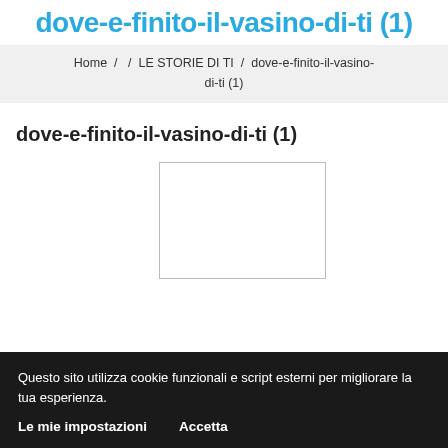dove-e-finito-il-vasino-di-ti (1)
Home / / LE STORIE DI TI / dove-e-finito-il-vasino-di-ti (1)
dove-e-finito-il-vasino-di-ti (1)
[Figure (other): White rectangle image placeholder with thin border]
Questo sito utilizza cookie funzionali e script esterni per migliorare la tua esperienza.
Le mie impostazioni    Accetta